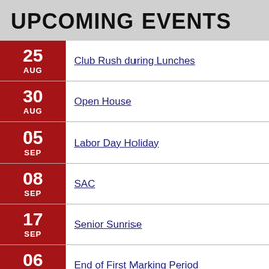UPCOMING EVENTS
25 AUG – Club Rush during Lunches
30 AUG – Open House
05 SEP – Labor Day Holiday
08 SEP – SAC
17 SEP – Senior Sunrise
06 OCT – End of First Marking Period
07 OCT – Teacher Workday/Student Holiday